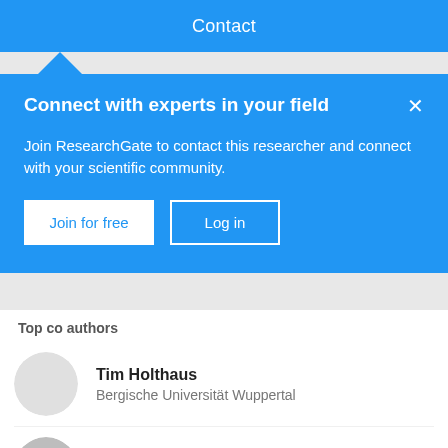Contact
Connect with experts in your field
Join ResearchGate to contact this researcher and connect with your scientific community.
Join for free   Log in
Top co authors
Tim Holthaus
Bergische Universität Wuppertal
Marian Schlott
Bergische Universität Wuppertal
Bert Leerkamp
Bergische Universität Wuppertal